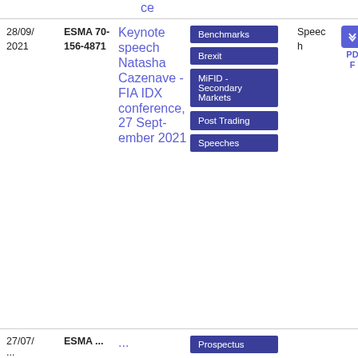ce
| Date | Reference | Title | Tags | Type | Download | Size |
| --- | --- | --- | --- | --- | --- | --- |
| 28/09/2021 | ESMA 70-156-4871 | Keynote speech Natasha Cazenave - FIA IDX conference, 27 September 2021 | Benchmarks | Brexit | MiFID - Secondary Markets | Post Trading | Speeches | Speech | PDF | 64.86 KB |
27/07/...
Prospectus